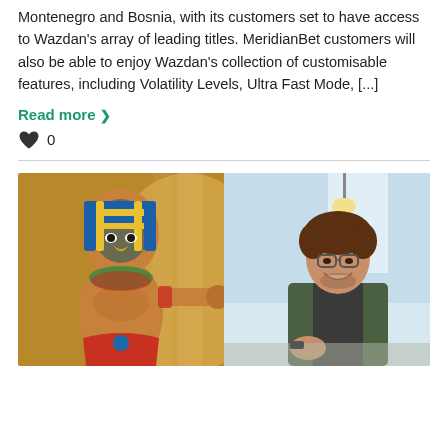Montenegro and Bosnia, with its customers set to have access to Wazdan's array of leading titles. MeridianBet customers will also be able to enjoy Wazdan's collection of customisable features, including Volatility Levels, Ultra Fast Mode, [...]
Read more ›
♥ 0
[Figure (illustration): Composite image: left side shows an Egyptian god character (falcon-headed, muscular) in an ancient temple setting; right side shows a smiling man with glasses in a modern office environment. The two figures appear to be doing a fist bump across the split image.]